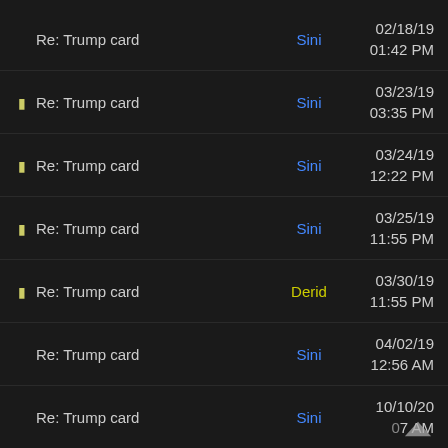Re: Trump card | Sini | 02/18/19 01:42 PM
Re: Trump card | Sini | 03/23/19 03:35 PM
Re: Trump card | Sini | 03/24/19 12:22 PM
Re: Trump card | Sini | 03/25/19 11:55 PM
Re: Trump card | Derid | 03/30/19 11:55 PM
Re: Trump card | Sini | 04/02/19 12:56 AM
Re: Trump card | Sini | 10/10/20 07 AM
Re: Trump card | Derid | 10/26/20